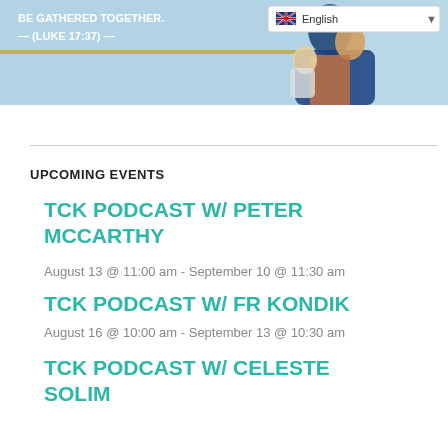[Figure (photo): Religious image with blue background showing a figure holding a child, with biblical text '— (LUKE 17:37) —' and an English language selector in top right]
UPCOMING EVENTS
TCK PODCAST W/ PETER MCCARTHY
August 13 @ 11:00 am - September 10 @ 11:30 am
TCK PODCAST W/ FR KONDIK
August 16 @ 10:00 am - September 13 @ 10:30 am
TCK PODCAST W/ CELESTE SOLIM